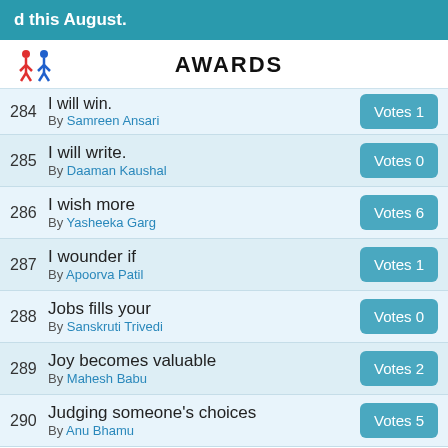d this August.
AWARDS
284  I will win.  By Samreen Ansari  Votes 1
285  I will write.  By Daaman Kaushal  Votes 0
286  I wish more  By Yasheeka Garg  Votes 6
287  I wounder if  By Apoorva Patil  Votes 1
288  Jobs fills your  By Sanskruti Trivedi  Votes 0
289  Joy becomes valuable  By Mahesh Babu  Votes 2
290  Judging someone's choices  By Anu Bhamu  Votes 5